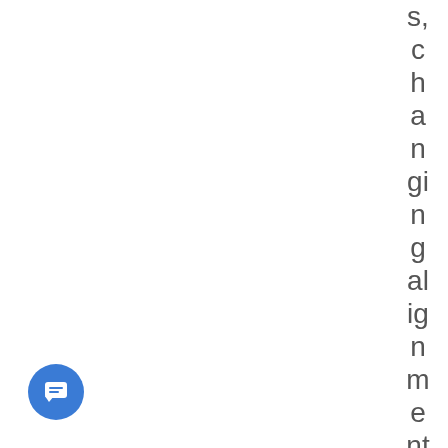s, changing alignment, infa
[Figure (other): Blue circular chat/message button icon in bottom-left corner]